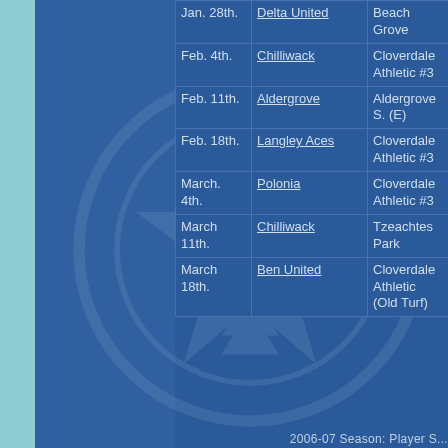| Date | Opponent | Location | Result |
| --- | --- | --- | --- |
| Jan. 28th. | Delta United | Beach Grove | W 1-2) |
| Feb. 4th. | Chilliwack | Cloverdale Athletic #3 | L 1-2) |
| Feb. 11th. | Aldergrove | Aldergrove S. (E) | W 2-2) |
| Feb. 18th. | Langley Aces | Cloverdale Athletic #3 | W 9-0) |
| March. 4th. | Polonia | Cloverdale Athletic #3 | W 3-1) |
| March 11th. | Chilliwack | Tzeachtes Park | W 0-1) |
| March 18th. | Ben United | Cloverdale Athletic (Old Turf) | W 2-0) |
2006-07 Season: Player S...